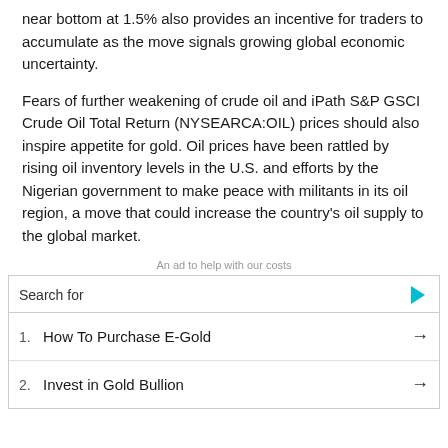near bottom at 1.5% also provides an incentive for traders to accumulate as the move signals growing global economic uncertainty.
Fears of further weakening of crude oil and iPath S&P GSCI Crude Oil Total Return (NYSEARCA:OIL) prices should also inspire appetite for gold. Oil prices have been rattled by rising oil inventory levels in the U.S. and efforts by the Nigerian government to make peace with militants in its oil region, a move that could increase the country's oil supply to the global market.
An ad to help with our costs
[Figure (other): Advertisement box with 'Search for' header and two list items: 1. How To Purchase E-Gold, 2. Invest in Gold Bullion]